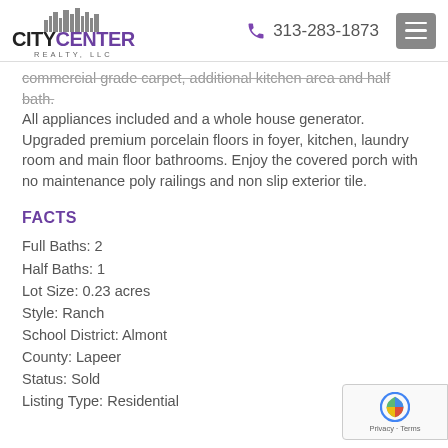CITY CENTER REALTY, LLC | 313-283-1873
commercial grade carpet, additional kitchen area and half bath. All appliances included and a whole house generator. Upgraded premium porcelain floors in foyer, kitchen, laundry room and main floor bathrooms. Enjoy the covered porch with no maintenance poly railings and non slip exterior tile.
FACTS
Full Baths: 2
Half Baths: 1
Lot Size: 0.23 acres
Style: Ranch
School District: Almont
County: Lapeer
Status: Sold
Listing Type: Residential